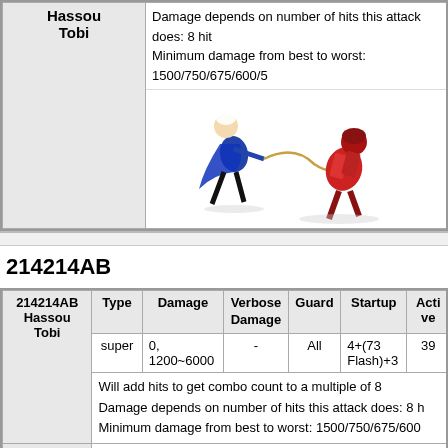|  | Type | Damage | Verbose Damage | Guard | Startup | Active |
| --- | --- | --- | --- | --- | --- | --- |
| Hassou Tobi |  |  |  |  |  |  |
|  | Damage depends on number of hits this attack does: 8 hit |  |  |  |  |  |
|  | Minimum damage from best to worst: 1500/750/675/600/5 |  |  |  |  |  |
|  | [image] |  |  |  |  |  |
214214AB
|  | Type | Damage | Verbose Damage | Guard | Startup | Active |
| --- | --- | --- | --- | --- | --- | --- |
| 214214AB Hassou Tobi | super | 0, 1200~6000 | - | All | 4+(73 Flash)+3 | 39 |
|  | Will add hits to get combo count to a multiple of 8 |  |  |  |  |  |
|  | Damage depends on number of hits this attack does: 8 h |  |  |  |  |  |
|  | Minimum damage from best to worst: 1500/750/675/600 |  |  |  |  |  |
|  | [image] |  |  |  |  |  |